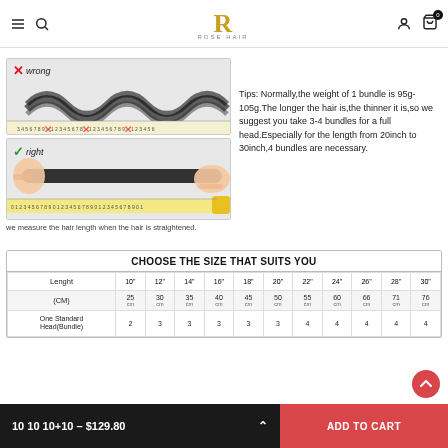Rose Hair — navigation header with menu, search, logo, account, and cart icons
[Figure (photo): Two photos showing wrong and right methods of measuring hair length. Top photo labeled 'wrong' shows wavy bundled hair on a ruler. Bottom photo labeled 'right' shows straight hair laid flat on a measuring tape.]
we measure the hair length when the hair is straightened.
Tips: Normally the weight of 1 bundle is 95g-105g.The longer the hair is the thinner it is,so we suggest you take 3-4 bundles for a full head.Especially for the length from 20inch to 30inch,4 bundles are necessary.
| Lenght | 10" | 12" | 14" | 16" | 18" | 20" | 22" | 24" | 26" | 28" | 30" |
| --- | --- | --- | --- | --- | --- | --- | --- | --- | --- | --- | --- |
| (CM) | 25 cm | 30 cm | 35 cm | 40 cm | 45 cm | 50 cm | 55 cm | 60 cm | 66 cm | 71 cm | 76 cm |
| One Standard Head(Bundle) | 2 | 3 | 3 | 3 | 3 | 3 | 4 | 4 | 4 | 4 | 4 |
10 10 10+10 – $129.80   ADD TO CART